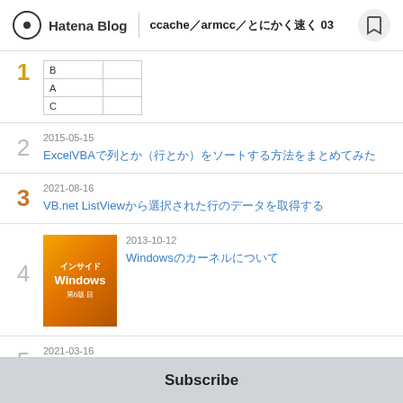Hatena Blog  ccache／armcc／とにかく速く 03
1 [table with rows B, A, C]
2  2015-05-15  ExcelVBAで列とか（行とか）をソートする方法をまとめてみた
3  2021-08-16  VB.net ListViewから選択された行のデータを取得する
4  2013-10-12  Windowsのカーネルについて
5  2021-03-16  WebView2（Microsoft Edge）ブラウザ コントロールをVB.netのWindowsフォームアプリに実装する
Subscribe